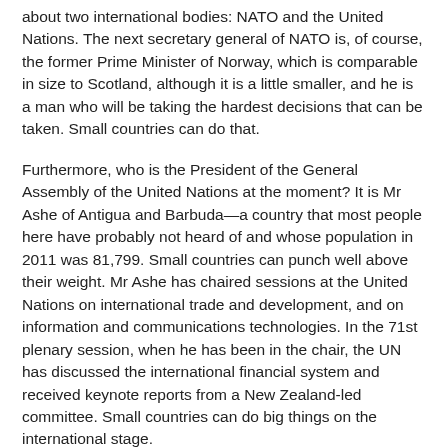about two international bodies: NATO and the United Nations. The next secretary general of NATO is, of course, the former Prime Minister of Norway, which is comparable in size to Scotland, although it is a little smaller, and he is a man who will be taking the hardest decisions that can be taken. Small countries can do that.
Furthermore, who is the President of the General Assembly of the United Nations at the moment? It is Mr Ashe of Antigua and Barbuda—a country that most people here have probably not heard of and whose population in 2011 was 81,799. Small countries can punch well above their weight. Mr Ashe has chaired sessions at the United Nations on international trade and development, and on information and communications technologies. In the 71st plenary session, when he has been in the chair, the UN has discussed the international financial system and received keynote reports from a New Zealand-led committee. Small countries can do big things on the international stage.
It is worth commenting on Tavish Scott's references to South Ossetia and Abkhazia in Georgia, which is a country that is